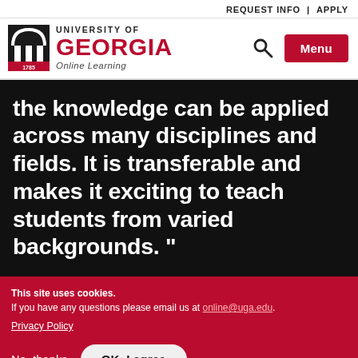REQUEST INFO | APPLY
[Figure (logo): University of Georgia Online Learning logo with arch icon]
the knowledge can be applied across many disciplines and fields. It is transferable and makes it exciting to teach students from varied backgrounds. "
This site uses cookies.
If you have any questions please email us at online@uga.edu.
Privacy Policy
No, thanks   OK, I agree